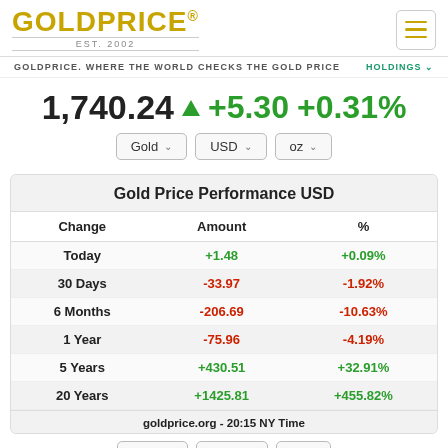GOLDPRICE® EST. 2002
GOLDPRICE. WHERE THE WORLD CHECKS THE GOLD PRICE
HOLDINGS
1,740.24 ▲ +5.30 +0.31%
| Change | Amount | % |
| --- | --- | --- |
| Today | +1.48 | +0.09% |
| 30 Days | -33.97 | -1.92% |
| 6 Months | -206.69 | -10.63% |
| 1 Year | -75.96 | -4.19% |
| 5 Years | +430.51 | +32.91% |
| 20 Years | +1425.81 | +455.82% |
goldprice.org - 20:15 NY Time